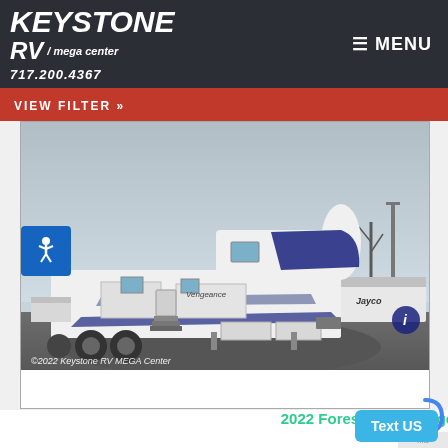Keystone RV Mega Center 717.200.4367 | MENU
VIEW FILTER »
[Figure (photo): Exterior photo of a 2022 Forest River Vengeance Rogue 371 fifth-wheel toy hauler RV parked in a dealer lot. The large white RV with dark blue graphic accents is shown from the side/front quarter view. Steps are deployed and storage compartments are visible. Other RVs visible in background. Copyright 2022 Keystone RV MEGA Center watermark in lower left.]
2022 Forest River Vengeance Rogue 371